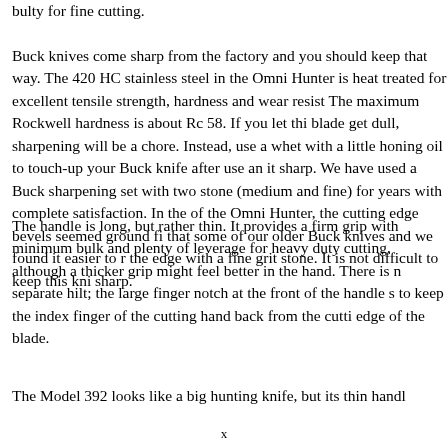bility for fine cutting. Buck knives come sharp from the factory and you should keep that way. The 420 HC stainless steel in the Omni Hunter is heat treated for excellent tensile strength, hardness and wear resistance. The maximum Rockwell hardness is about Rc 58. If you let this blade get dull, sharpening will be a chore. Instead, use a whetstone with a little honing oil to touch-up your Buck knife after use and keep it sharp. We have used a Buck sharpening set with two stones (medium and fine) for years with complete satisfaction. In the case of the Omni Hunter, the cutting edge bevels seemed ground finer than that some of our older Buck knives and we found it easier to restore the edge with a fine grit stone. It is not difficult to keep this knife sharp.
The handle is long, but rather thin. It provides a firm grip with minimum bulk and plenty of leverage for heavy duty cutting, although a thicker grip might feel better in the hand. There is no separate hilt; the large finger notch at the front of the handle serves to keep the index finger of the cutting hand back from the cutting edge of the blade.
The Model 392 looks like a big hunting knife, but its thin handle
x